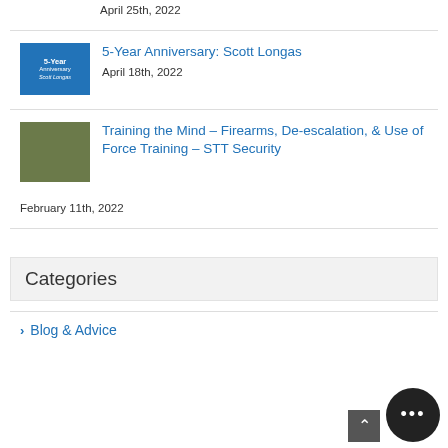April 25th, 2022
5-Year Anniversary: Scott Longas
April 18th, 2022
Training the Mind – Firearms, De-escalation, & Use of Force Training – STT Security
February 11th, 2022
Categories
Blog & Advice